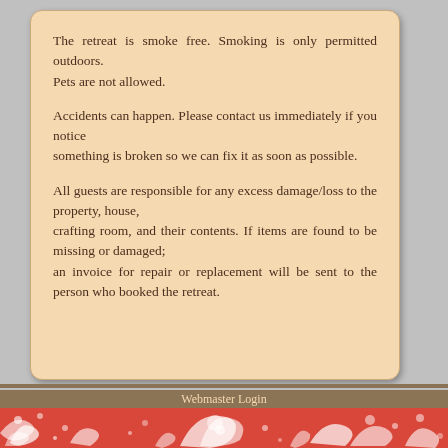The retreat is smoke free. Smoking is only permitted outdoors.
Pets are not allowed.
Accidents can happen. Please contact us immediately if you notice something is broken so we can fix it as soon as possible.
All guests are responsible for any excess damage/loss to the property, house, crafting room, and their contents. If items are found to be missing or damaged; an invoice for repair or replacement will be sent to the person who booked the retreat.
Webmaster Login
[Figure (illustration): Red background with white floral/scroll decorative pattern]